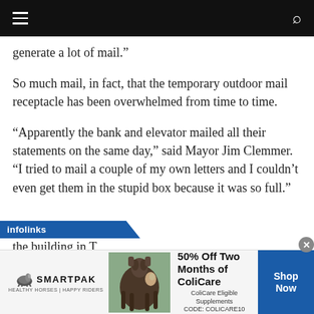Navigation bar with hamburger menu and search icon
generate a lot of mail.”
So much mail, in fact, that the temporary outdoor mail receptacle has been overwhelmed from time to time.
“Apparently the bank and elevator mailed all their statements on the same day,” said Mayor Jim Clemmer. “I tried to mail a couple of my own letters and I couldn’t even get them in the stupid box because it was so full.”
[Figure (screenshot): infolinks advertisement bar at bottom with SmartPak ad: 50% Off Two Months of ColiCare, ColiCare Eligible Supplements, CODE: COLICARE10, Shop Now button]